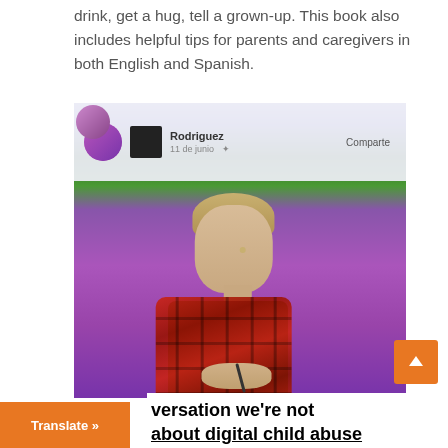drink, get a hug, tell a grown-up. This book also includes helpful tips for parents and caregivers in both English and Spanish.
[Figure (photo): A young man in a red plaid shirt speaking at what appears to be a conference or talk, with a Facebook post screenshot visible in the background showing the name 'Rodriguez' and the word 'Comparte'. The background has purple and green tones.]
versation we're not about digital child abuse